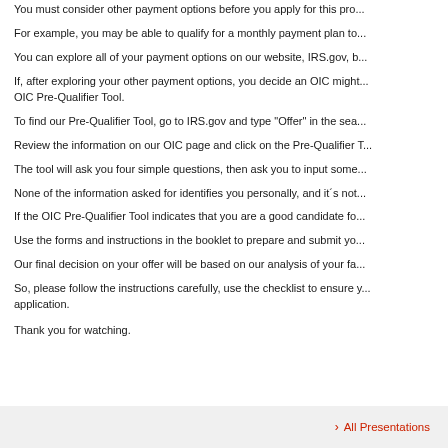You must consider other payment options before you apply for this pro...
For example, you may be able to qualify for a monthly payment plan to...
You can explore all of your payment options on our website, IRS.gov, b...
If, after exploring your other payment options, you decide an OIC might... OIC Pre-Qualifier Tool.
To find our Pre-Qualifier Tool, go to IRS.gov and type "Offer" in the sea...
Review the information on our OIC page and click on the Pre-Qualifier T...
The tool will ask you four simple questions, then ask you to input some...
None of the information asked for identifies you personally, and it´s not...
If the OIC Pre-Qualifier Tool indicates that you are a good candidate fo...
Use the forms and instructions in the booklet to prepare and submit yo...
Our final decision on your offer will be based on our analysis of your fa...
So, please follow the instructions carefully, use the checklist to ensure y... application.
Thank you for watching.
› All Presentations